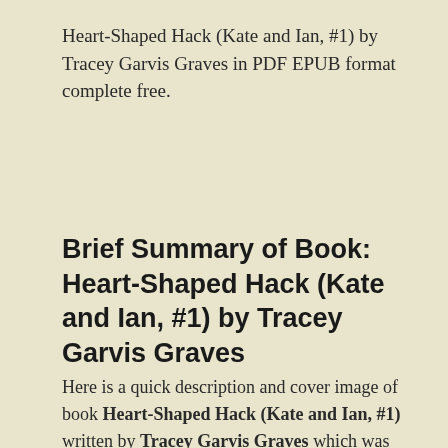Heart-Shaped Hack (Kate and Ian, #1) by Tracey Garvis Graves in PDF EPUB format complete free.
Brief Summary of Book: Heart-Shaped Hack (Kate and Ian, #1) by Tracey Garvis Graves
Here is a quick description and cover image of book Heart-Shaped Hack (Kate and Ian, #1) written by Tracey Garvis Graves which was published in 2015-8-25. You can read this before